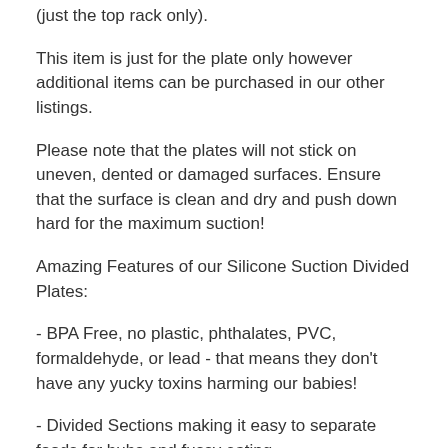(just the top rack only).
This item is just for the plate only however additional items can be purchased in our other listings.
Please note that the plates will not stick on uneven, dented or damaged surfaces. Ensure that the surface is clean and dry and push down hard for the maximum suction!
Amazing Features of our Silicone Suction Divided Plates:
- BPA Free, no plastic, phthalates, PVC, formaldehyde, or lead - that means they don't have any yucky toxins harming our babies!
- Divided Sections making it easy to separate foods for bubs and fussy eating.
- Suction really sticks!
- SO easy to clean - just wash in warm soapy water